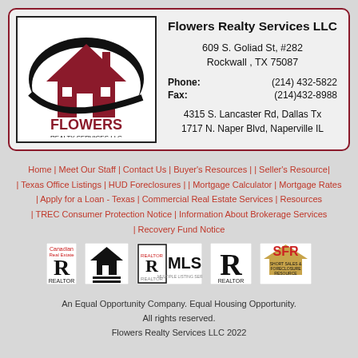[Figure (logo): Flowers Realty Services LLC logo with house icon and swoosh]
Flowers Realty Services LLC
609 S. Goliad St, #282
Rockwall , TX 75087
Phone: (214) 432-5822
Fax: (214)432-8988
4315 S. Lancaster Rd, Dallas Tx
1717 N. Naper Blvd, Naperville IL
Home | Meet Our Staff | Contact Us | Buyer's Resources | | Seller's Resource | | Texas Office Listings | HUD Foreclosures | | Mortgage Calculator | Mortgage Rates | Apply for a Loan - Texas | Commercial Real Estate Services | Resources | TREC Consumer Protection Notice | Information About Brokerage Services | Recovery Fund Notice
[Figure (logo): Realtor R logo (Canadian Real Estate)]
[Figure (logo): Equal Housing Opportunity logo]
[Figure (logo): Realtor MLS logo]
[Figure (logo): Realtor R logo]
[Figure (logo): SFR Short Sales & Foreclosure Resource logo]
An Equal Opportunity Company. Equal Housing Opportunity.
All rights reserved.
Flowers Realty Services LLC 2022